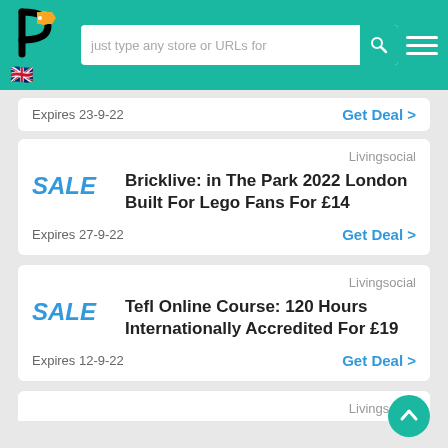P [logo] | just type any store or URLs for [search] | [menu]
Expires 23-9-22  Get Deal >
Livingsocial
Bricklive: in The Park 2022 London Built For Lego Fans For £14
Expires 27-9-22  Get Deal >
Livingsocial
Tefl Online Course: 120 Hours Internationally Accredited For £19
Expires 12-9-22  Get Deal >
Livingsocial